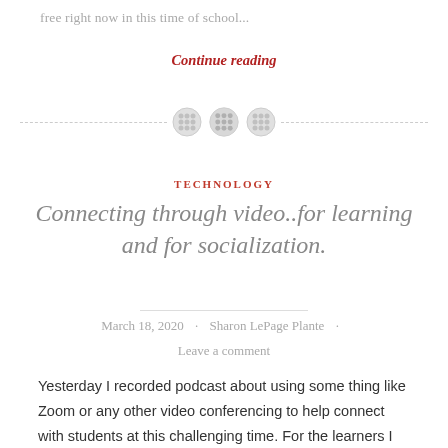free right now in this time of school...
Continue reading
[Figure (illustration): Decorative divider with three button icons and a dashed horizontal line]
TECHNOLOGY
Connecting through video..for learning and for socialization.
March 18, 2020 · Sharon LePage Plante · Leave a comment
Yesterday I recorded podcast about using some thing like Zoom or any other video conferencing to help connect with students at this challenging time. For the learners I work with, who have learning differences, I know the